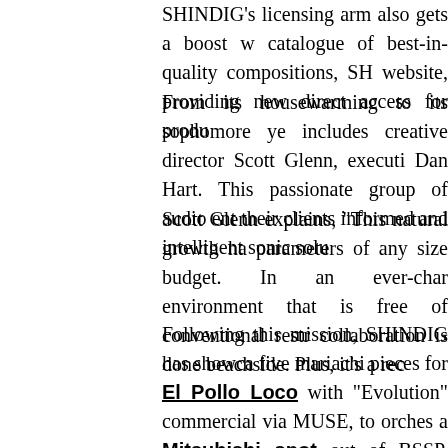SHINDIG's licensing arm also gets a boost with a catalogue of best-in-quality compositions, SH... website, providing new direct access for produ...
From its housewarming to its sophomore ye... includes creative director Scott Glenn, executi... Dan Hart. This passionate group of audio ent... their clients informed and intelligent sonic solu...
Scott Glenn explains, "This natural growth ha... parameters of any size budget. In an ever-chan... environment that is free of conventional restr... collaboration is done beachside. Plus, it's a rec...
Following this mission, SHINDIG has showca... five mariachi pieces for El Pollo Loco with... "Evolution" commercial via MUSE, to orches... a Mitsubishi spot out of BSSP. Other undert... spoofs, and cinematic orchestral/electronic sc... Reel), Acura (MullenLowe), and Teavana (S... Lexus spots (Team One), an HEB Super Ba... three-spot campaign for Physicians Mutual ...